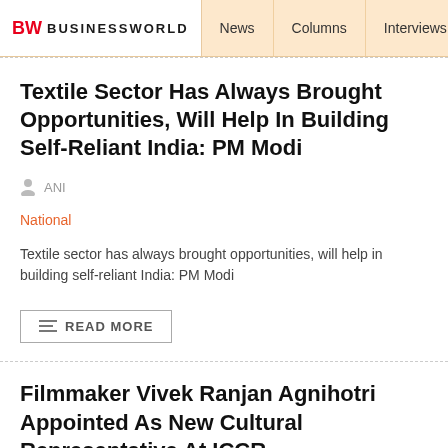BW BUSINESSWORLD | News | Columns | Interviews | BW
Textile Sector Has Always Brought Opportunities, Will Help In Building Self-Reliant India: PM Modi
ANI
National
Textile sector has always brought opportunities, will help in building self-reliant India: PM Modi
READ MORE
Filmmaker Vivek Ranjan Agnihotri Appointed As New Cultural Representative At ICCR
ANI